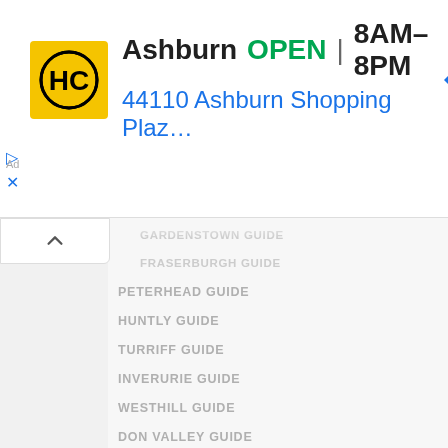[Figure (infographic): Ad banner for HC (Home Concepts or similar) store in Ashburn, showing logo, OPEN status, hours 8AM-8PM, address 44110 Ashburn Shopping Plaz..., navigation icon, and ad controls]
GARDENSTOWN GUIDE
FRASERBURGH GUIDE
PETERHEAD GUIDE
HUNTLY GUIDE
TURRIFF GUIDE
INVERURIE GUIDE
WESTHILL GUIDE
DON VALLEY GUIDE
INSCH GUIDE
KINTORE GUIDE
MAUD GUIDE
NEWMACHAR GUIDE